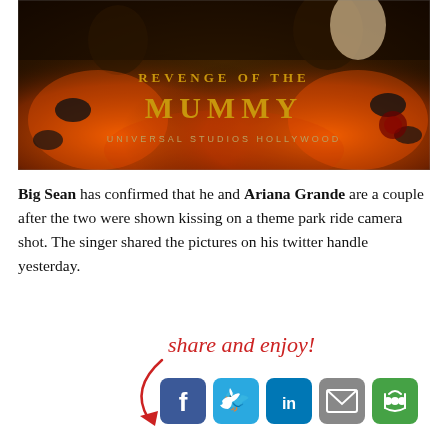[Figure (photo): Photo of people at Revenge of the Mummy ride at Universal Studios Hollywood, with the ride's logo text visible]
Big Sean has confirmed that he and Ariana Grande are a couple after the two were shown kissing on a theme park ride camera shot. The singer shared the pictures on his twitter handle yesterday.
Share and enjoy!
[Figure (other): Share and enjoy callout with arrow pointing to social media share buttons (Facebook, Twitter, LinkedIn, Email, More)]